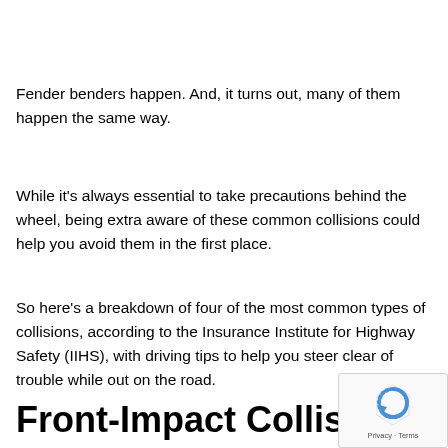Fender benders happen. And, it turns out, many of them happen the same way.
While it's always essential to take precautions behind the wheel, being extra aware of these common collisions could help you avoid them in the first place.
So here's a breakdown of four of the most common types of collisions, according to the Insurance Institute for Highway Safety (IIHS), with driving tips to help you steer clear of trouble while out on the road.
Front-Impact Collisions